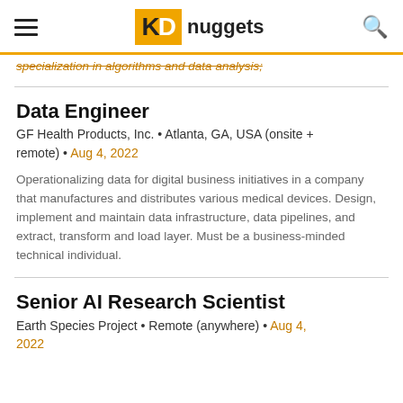KD nuggets
specialization in algorithms and data analysis;
Data Engineer
GF Health Products, Inc. • Atlanta, GA, USA (onsite + remote) • Aug 4, 2022
Operationalizing data for digital business initiatives in a company that manufactures and distributes various medical devices. Design, implement and maintain data infrastructure, data pipelines, and extract, transform and load layer. Must be a business-minded technical individual.
Senior AI Research Scientist
Earth Species Project • Remote (anywhere) • Aug 4, 2022